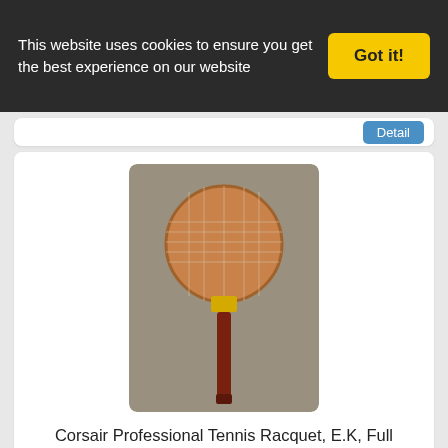This website uses cookies to ensure you get the best experience on our website
Got it!
[Figure (photo): Vintage wooden Corsair tennis racquet with round head and brown handle, photographed on grey carpet]
Corsair Professional Tennis Racquet, E.K, Full Overlay, Deluxe Young Pro
Detail
[Figure (photo): Modern CORTEX blue and black tennis racquet with white strings and white grip, photographed on white background]
CORTEX Rubber Tennis Racquet Grip 4 1/2"